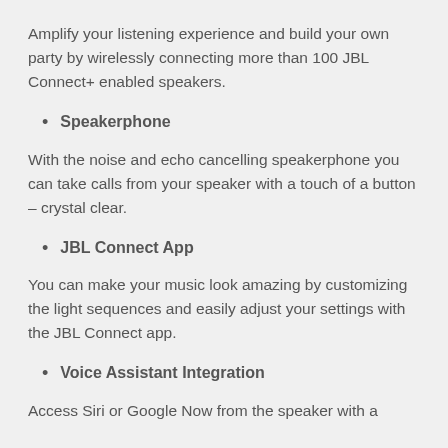Amplify your listening experience and build your own party by wirelessly connecting more than 100 JBL Connect+ enabled speakers.
Speakerphone
With the noise and echo cancelling speakerphone you can take calls from your speaker with a touch of a button – crystal clear.
JBL Connect App
You can make your music look amazing by customizing the light sequences and easily adjust your settings with the JBL Connect app.
Voice Assistant Integration
Access Siri or Google Now from the speaker with a